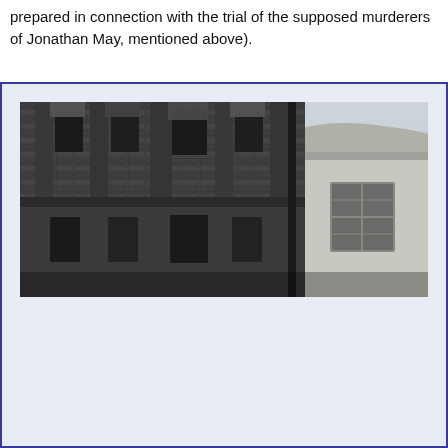prepared in connection with the trial of the supposed murderers of Jonathan May, mentioned above).
[Figure (photo): Black and white photograph showing the upper portions of two adjacent buildings — a dark stone/brick building with tall windows on the left, and a lighter rendered building with a curved cornice and a multi-pane window on the right, set against a pale sky.]